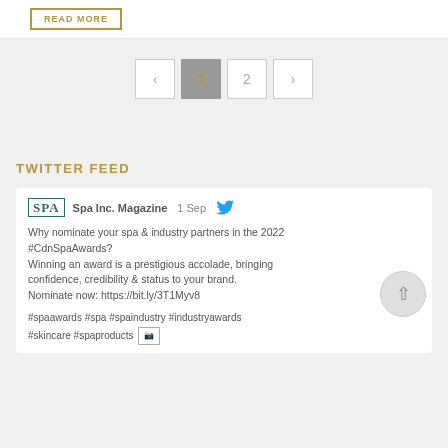[Figure (screenshot): READ MORE button with gold border]
[Figure (screenshot): Pagination navigation with previous arrow, page 1 (active, grey), page 2, next arrow]
TWITTER FEED
[Figure (screenshot): Tweet from Spa Inc. Magazine dated 1 Sep with Twitter bird icon. Text: Why nominate your spa & industry partners in the 2022 #CdnSpaAwards? Winning an award is a prestigious accolade, bringing confidence, credibility & status to your brand. Nominate now: https://bit.ly/3T1Myv8. #spaawards #spa #spaindustry #industryawards #skincare #spaproducts [image icon]]